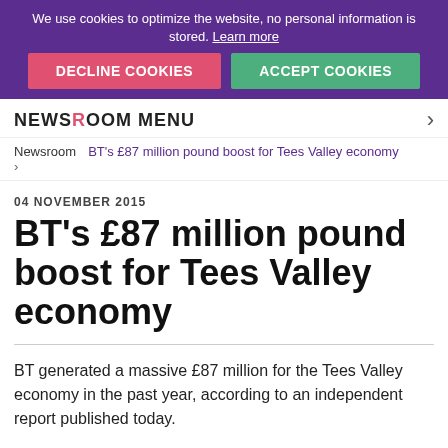We use cookies to optimize the website, no personal information is stored. Learn more
DECLINE COOKIES | ACCEPT COOKIES
NEWSROOM MENU
Newsroom > BT's £87 million pound boost for Tees Valley economy
04 NOVEMBER 2015
BT's £87 million pound boost for Tees Valley economy
BT generated a massive £87 million for the Tees Valley economy in the past year, according to an independent report published today.